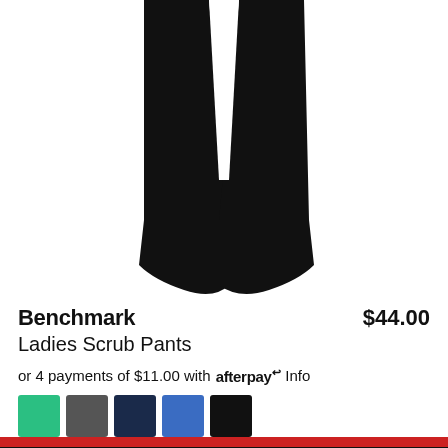[Figure (photo): Product photo of black ladies scrub pants (bottom half, showing legs/ankles cropped at top)]
Benchmark   $44.00
Ladies Scrub Pants
or 4 payments of $11.00 with afterpay Info
[Figure (other): Color swatches: green, dark grey, navy, blue, black]
Hip Pocket Workwear & Safety website employs cookies to improve your user experience, for social media features and to analyse our traffic. By continuing to browse or by clicking 'Accept' you agree to the cookies on this website. For more information, please read our Privacy Policy.
Accept